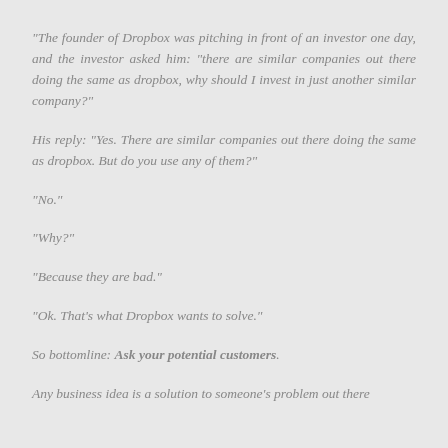“The founder of Dropbox was pitching in front of an investor one day, and the investor asked him: "there are similar companies out there doing the same as dropbox, why should I invest in just another similar company?"
His reply: "Yes. There are similar companies out there doing the same as dropbox. But do you use any of them?"
"No."
"Why?"
"Because they are bad."
"Ok. That’s what Dropbox wants to solve."
So bottomline: Ask your potential customers.
Any business idea is a solution to someone’s problem out there